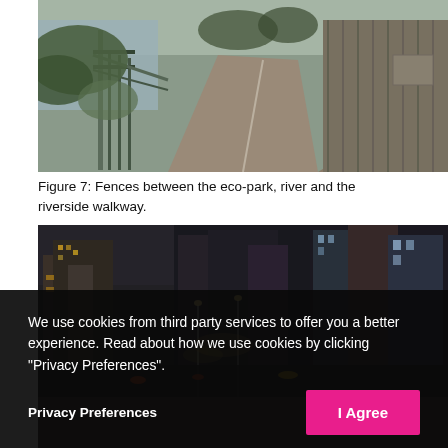[Figure (photo): Riverside walkway with wooden fence on the right, metal railing on the left overlooking a river, paved path stretching into the distance, green vegetation visible.]
Figure 7: Fences between the eco-park, river and the riverside walkway.
[Figure (photo): Urban cityscape at dusk showing tall buildings, city street with lights, multi-panel panoramic view of a riverside urban area.]
We use cookies from third party services to offer you a better experience. Read about how we use cookies by clicking "Privacy Preferences".
Privacy Preferences
I Agree